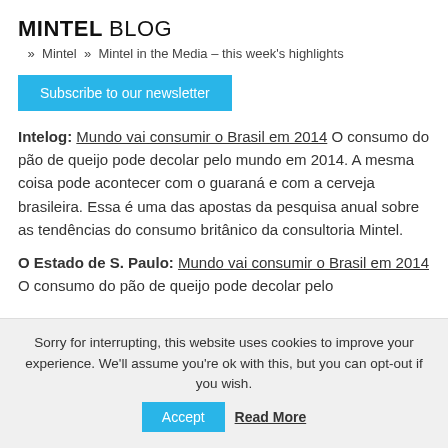MINTEL BLOG » Mintel » Mintel in the Media – this week's highlights
Subscribe to our newsletter
Intelog: Mundo vai consumir o Brasil em 2014 O consumo do pão de queijo pode decolar pelo mundo em 2014. A mesma coisa pode acontecer com o guaraná e com a cerveja brasileira. Essa é uma das apostas da pesquisa anual sobre as tendências do consumo britânico da consultoria Mintel.
O Estado de S. Paulo: Mundo vai consumir o Brasil em 2014 O consumo do pão de queijo pode decolar pelo
Sorry for interrupting, this website uses cookies to improve your experience. We'll assume you're ok with this, but you can opt-out if you wish. Accept Read More